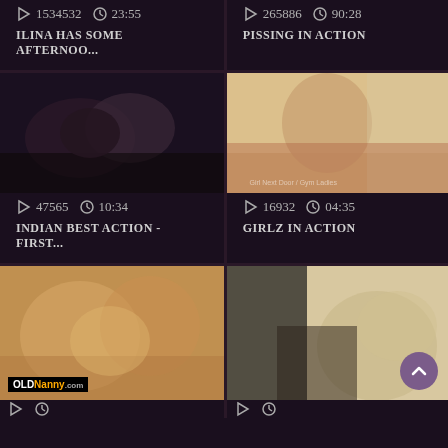1534532   23:55
265886   90:28
ILINA HAS SOME AFTERNOO…
PISSING IN ACTION
[Figure (photo): Dark video thumbnail]
[Figure (photo): Blonde woman video thumbnail]
47565   10:34
16932   04:35
INDIAN BEST ACTION - FIRST…
GIRLZ IN ACTION
[Figure (photo): OldNanny group video thumbnail]
[Figure (photo): Woman in black video thumbnail]